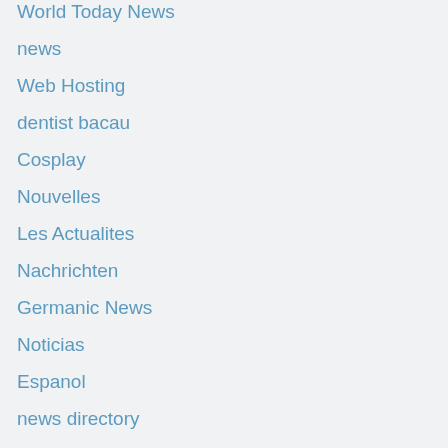World Today News
news
Web Hosting
dentist bacau
Cosplay
Nouvelles
Les Actualites
Nachrichten
Germanic News
Noticias
Espanol
news directory
Memesita